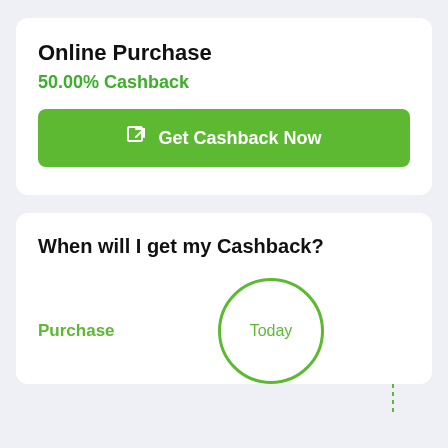Online Purchase
50.00% Cashback
Get Cashback Now
When will I get my Cashback?
Purchase
[Figure (infographic): Circle with 'Today' label representing the current step in a cashback timeline, with a dashed line going downward to additional steps.]